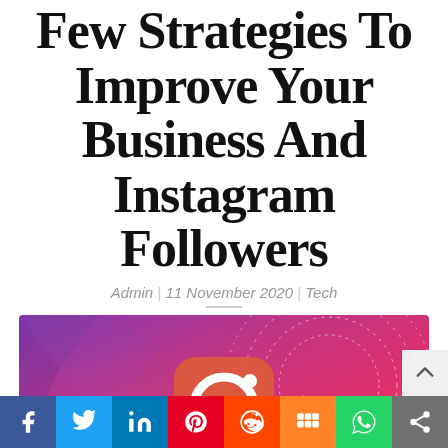Few Strategies To Improve Your Business And Instagram Followers
Admin | 11 November 2020 | Tech
[Figure (illustration): Instagram logo on a gradient purple-to-orange background with geometric patterns and circular arc design elements]
[Figure (infographic): Social media share bar with icons: Facebook, Twitter, LinkedIn, Pinterest, Reddit, Mix, WhatsApp, Share]